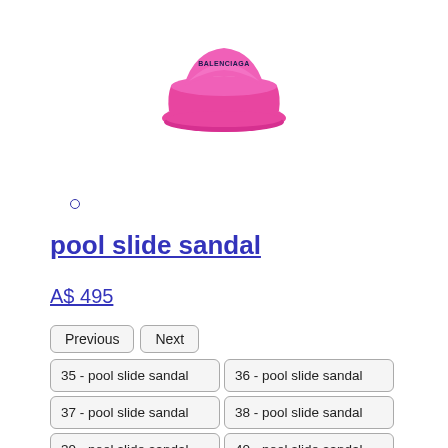[Figure (photo): Pink Balenciaga pool slide sandal viewed from above/side angle on white background]
pool slide sandal
A$ 495
| Previous | Next |  |  |
| 35 - pool slide sandal | 36 - pool slide sandal |  |  |
| 37 - pool slide sandal | 38 - pool slide sandal |  |  |
| 39 - pool slide sandal | 40 - pool slide sandal |  |  |
| 41 - pool slide sandal | 42 - pool slide sandal |  |  |